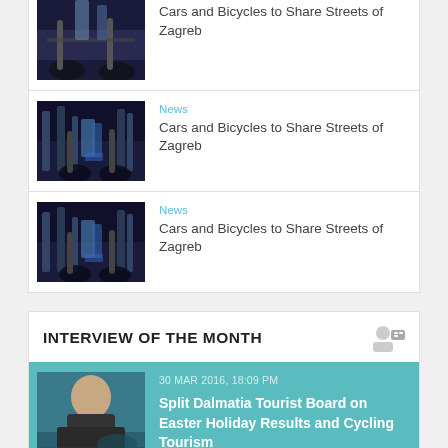[Figure (photo): Partial cycling news thumbnail - top of page, cropped]
Cars and Bicycles to Share Streets of Zagreb
[Figure (photo): Cyclists on night street - cycling news thumbnail]
News
Cars and Bicycles to Share Streets of Zagreb
[Figure (photo): Cyclists on night street - cycling news thumbnail]
News
Cars and Bicycles to Share Streets of Zagreb
INTERVIEW OF THE MONTH
30 MAR 2016, 18:09 PM
Split Dalmatia Tourist Board on Easter Holiday Results and Cycling Tourism